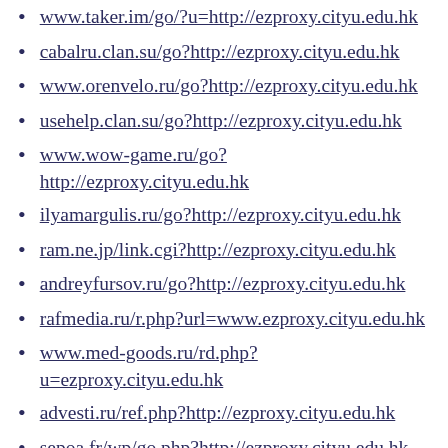www.taker.im/go/?u=http://ezproxy.cityu.edu.hk
cabalru.clan.su/go?http://ezproxy.cityu.edu.hk
www.orenvelo.ru/go?http://ezproxy.cityu.edu.hk
usehelp.clan.su/go?http://ezproxy.cityu.edu.hk
www.wow-game.ru/go?http://ezproxy.cityu.edu.hk
ilyamargulis.ru/go?http://ezproxy.cityu.edu.hk
ram.ne.jp/link.cgi?http://ezproxy.cityu.edu.hk
andreyfursov.ru/go?http://ezproxy.cityu.edu.hk
rafmedia.ru/r.php?url=www.ezproxy.cityu.edu.hk
www.med-goods.ru/rd.php?u=ezproxy.cityu.edu.hk
advesti.ru/ref.php?http://ezproxy.cityu.edu.hk
sepoa.fr/wp/go.php?http://ezproxy.cityu.edu.hk
millerovo161.ru/go?http://ezproxy.cityu.edu.hk
devstroi.ru/?redir=http://ezproxy.cityu.edu.hk
world-source.ru/go?http://ezproxy.cityu.edu.hk
www.enaihuo.com/go.php?
(continues)